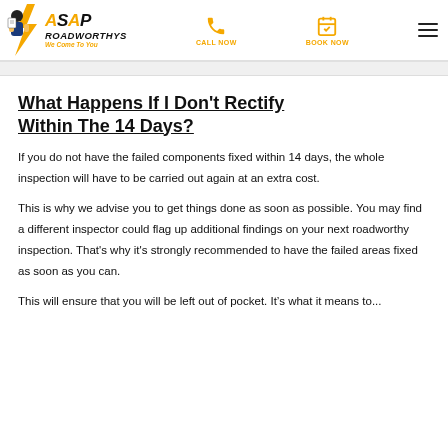ASAP ROADWORTHYS — We Come To You | CALL NOW | BOOK NOW
What Happens If I Don't Rectify Within The 14 Days?
If you do not have the failed components fixed within 14 days, the whole inspection will have to be carried out again at an extra cost.
This is why we advise you to get things done as soon as possible. You may find a different inspector could flag up additional findings on your next roadworthy inspection. That's why it's strongly recommended to have the failed areas fixed as soon as you can.
This will ensure that you will be left out of pocket. It's what it means to...